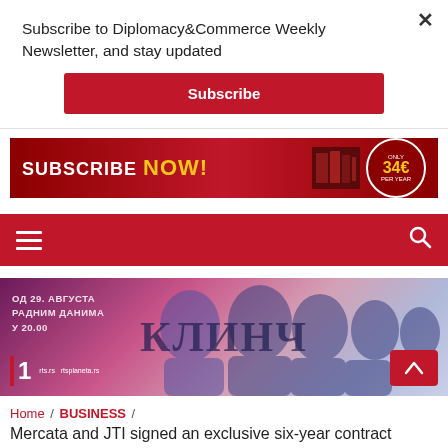Subscribe to Diplomacy&Commerce Weekly Newsletter, and stay updated
Subscribe
[Figure (infographic): Red advertisement banner with text 'SUBSCRIBE NOW!' in white and yellow, with a price badge showing 34€ and two book images on the right]
[Figure (screenshot): Red navigation bar with hamburger menu icon on the left and search icon on the right]
[Figure (photo): Hero banner for Serbian TV show 'Клинч' (Clinch) on RTS, showing cast members. Text reads 'ОД 29. АВГУСТА РАДНИМ ДАНИМА У 20.00' with RTS 1 logo. Red scroll-to-top button at bottom right.]
Home / BUSINESS /
Mercata and JTI signed an exclusive six-year contract